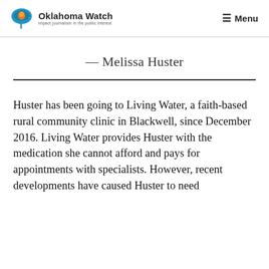Oklahoma Watch — impact journalism in the public interest | Menu
— Melissa Huster
Huster has been going to Living Water, a faith-based rural community clinic in Blackwell, since December 2016. Living Water provides Huster with the medication she cannot afford and pays for appointments with specialists. However, recent developments have caused Huster to need